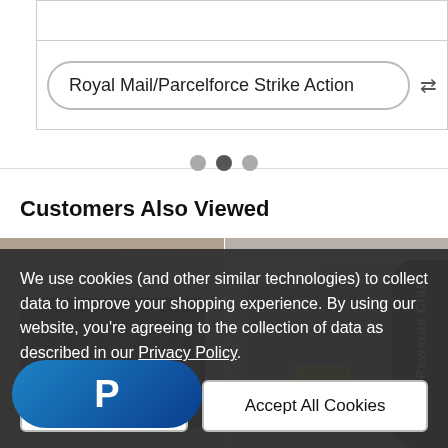[Figure (screenshot): Search bar row with Royal Mail/Parcelforce Strike Action text in a pill/rounded input, and a shuffle icon on right, inside a bordered table row]
Royal Mail/Parcelforce Strike Action
[Figure (other): Three pagination dots, middle dot darker/active]
Customers Also Viewed
[Figure (photo): Two product photos side by side showing metal power supply units on a wooden surface with yellow labels]
AWUK Rewards Club
We use cookies (and other similar technologies) to collect data to improve your shopping experience. By using our website, you're agreeing to the collection of data as described in our Privacy Policy.
Reject all
Accept All Cookies